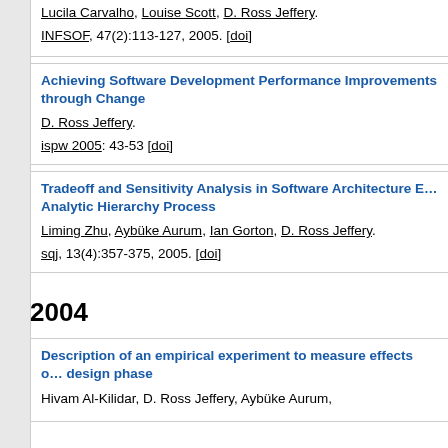Lucila Carvalho, Louise Scott, D. Ross Jeffery.
INFSOF, 47(2):113-127, 2005. [doi]
Achieving Software Development Performance Improvements through Change
D. Ross Jeffery.
ispw 2005: 43-53 [doi]
Tradeoff and Sensitivity Analysis in Software Architecture Evaluation Using the Analytic Hierarchy Process
Liming Zhu, Aybüke Aurum, Ian Gorton, D. Ross Jeffery.
sqj, 13(4):357-375, 2005. [doi]
2004
Description of an empirical experiment to measure effects on the design phase
Hivam Al-Kilidar, D. Ross Jeffery, Aybüke Aurum,